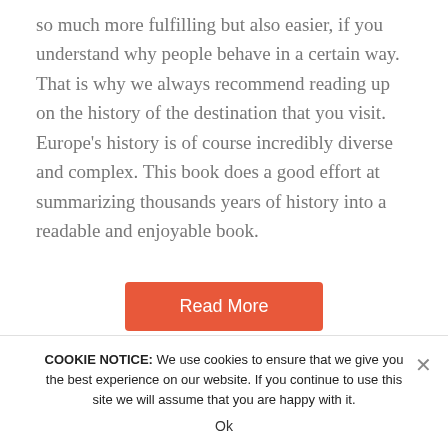so much more fulfilling but also easier, if you understand why people behave in a certain way. That is why we always recommend reading up on the history of the destination that you visit. Europe's history is of course incredibly diverse and complex. This book does a good effort at summarizing thousands years of history into a readable and enjoyable book.
[Figure (other): Red 'Read More' button]
[Figure (logo): Amazon logo with orange arrow]
COOKIE NOTICE: We use cookies to ensure that we give you the best experience on our website. If you continue to use this site we will assume that you are happy with it.
Ok